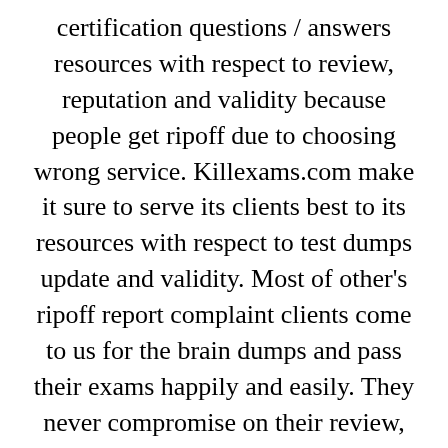certification questions / answers resources with respect to review, reputation and validity because people get ripoff due to choosing wrong service. Killexams.com make it sure to serve its clients best to its resources with respect to test dumps update and validity. Most of other's ripoff report complaint clients come to us for the brain dumps and pass their exams happily and easily. They never compromise on their review, reputation and quality because killexams review, killexams reputation and killexams client confidence is important to us. Specially they take care of killexams.com review, killexams.com reputation, killexams.com ripoff report complaint, killexams.com trust